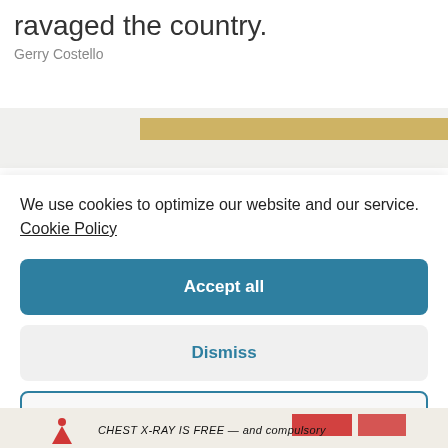ravaged the country.
Gerry Costello
[Figure (photo): Partial image strip at top showing a golden/tan horizontal bar on a light background]
We use cookies to optimize our website and our service.  Cookie Policy
Accept all
Dismiss
Preferences
[Figure (photo): Bottom strip showing text 'CHEST X-RAY IS FREE — and compulsory' with a red graphic element and an arrow icon]